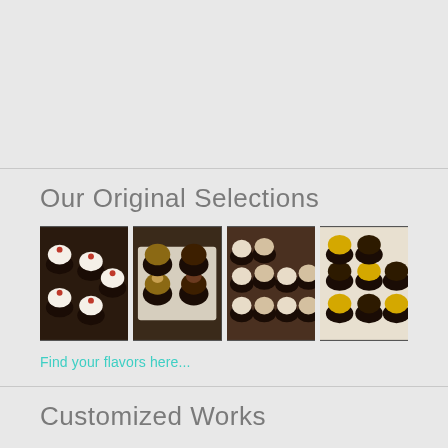Our Original Selections
[Figure (photo): Four photos of assorted mini cupcakes with various frostings arranged in rows]
Find your flavors here...
Customized Works